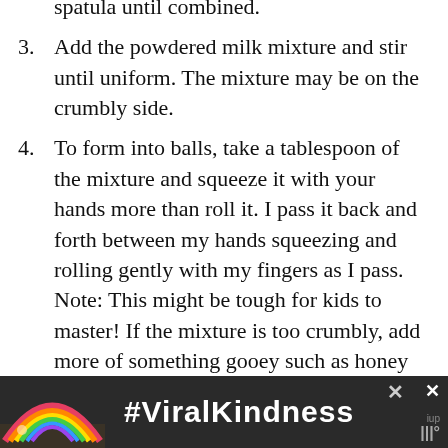spatula until combined.
3. Add the powdered milk mixture and stir until uniform. The mixture may be on the crumbly side.
4. To form into balls, take a tablespoon of the mixture and squeeze it with your hands more than roll it. I pass it back and forth between my hands squeezing and rolling gently with my fingers as I pass. Note: This might be tough for kids to master! If the mixture is too crumbly, add more of something gooey such as honey or even a tablespoon of vegetable, coconut, or flax oil.
5. Serve or store in an airtight container in the
[Figure (infographic): Advertisement banner at bottom of page showing a rainbow graphic on dark background with text '#ViralKindness' and close buttons]